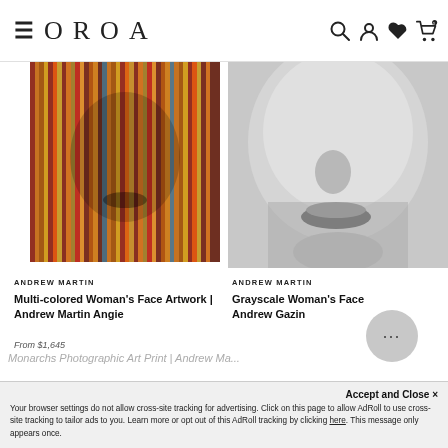OROA
[Figure (photo): Multi-colored striped artwork of a woman's face by Andrew Martin]
ANDREW MARTIN
Multi-colored Woman's Face Artwork | Andrew Martin Angie
From $1,645
[Figure (photo): Grayscale close-up of woman's face by Andrew Martin]
ANDREW MARTIN
Grayscale Woman's Face Andrew Gazing
Monarchs Photographic Art Print | Andrew Ma...
Accept and Close ✕
Your browser settings do not allow cross-site tracking for advertising. Click on this page to allow AdRoll to use cross-site tracking to tailor ads to you. Learn more or opt out of this AdRoll tracking by clicking here. This message only appears once.